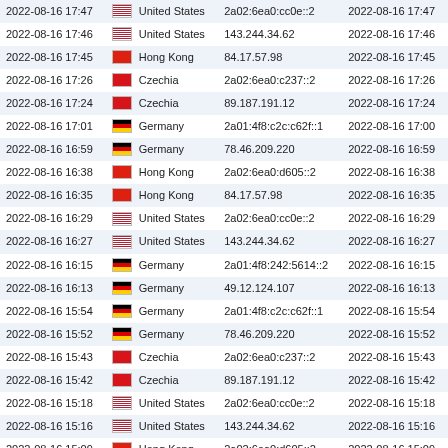| Date/Time | Country | IP Address | Date/Time |
| --- | --- | --- | --- |
| 2022-08-16 17:47 | United States | 2a02:6ea0:cc0e::2 | 2022-08-16 17:47 |
| 2022-08-16 17:46 | United States | 143.244.34.62 | 2022-08-16 17:46 |
| 2022-08-16 17:45 | Hong Kong | 84.17.57.98 | 2022-08-16 17:45 |
| 2022-08-16 17:26 | Czechia | 2a02:6ea0:c237::2 | 2022-08-16 17:26 |
| 2022-08-16 17:24 | Czechia | 89.187.191.12 | 2022-08-16 17:24 |
| 2022-08-16 17:01 | Germany | 2a01:4f8:c2c:c62f::1 | 2022-08-16 17:00 |
| 2022-08-16 16:59 | Germany | 78.46.209.220 | 2022-08-16 16:59 |
| 2022-08-16 16:38 | Hong Kong | 2a02:6ea0:d605::2 | 2022-08-16 16:38 |
| 2022-08-16 16:35 | Hong Kong | 84.17.57.98 | 2022-08-16 16:35 |
| 2022-08-16 16:29 | United States | 2a02:6ea0:cc0e::2 | 2022-08-16 16:29 |
| 2022-08-16 16:27 | United States | 143.244.34.62 | 2022-08-16 16:27 |
| 2022-08-16 16:15 | Germany | 2a01:4f8:242:5614::2 | 2022-08-16 16:15 |
| 2022-08-16 16:13 | Germany | 49.12.124.107 | 2022-08-16 16:13 |
| 2022-08-16 15:54 | Germany | 2a01:4f8:c2c:c62f::1 | 2022-08-16 15:54 |
| 2022-08-16 15:52 | Germany | 78.46.209.220 | 2022-08-16 15:52 |
| 2022-08-16 15:43 | Czechia | 2a02:6ea0:c237::2 | 2022-08-16 15:43 |
| 2022-08-16 15:42 | Czechia | 89.187.191.12 | 2022-08-16 15:42 |
| 2022-08-16 15:18 | United States | 2a02:6ea0:cc0e::2 | 2022-08-16 15:18 |
| 2022-08-16 15:16 | United States | 143.244.34.62 | 2022-08-16 15:16 |
| 2022-08-16 15:09 | Hong Kong | 2a02:6ea0:d605::2 | 2022-08-16 15:09 |
| 2022-08-16 15:06 | Hong Kong | 84.17.57.98 | 2022-08-16 15:06 |